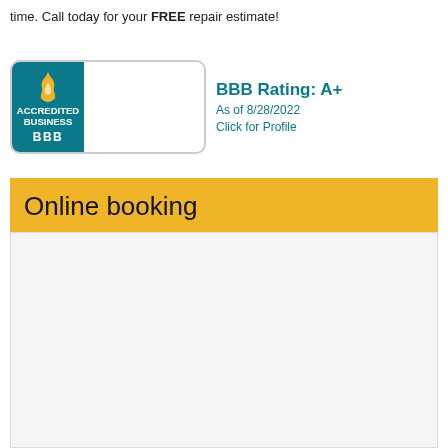time. Call today for your FREE repair estimate!
[Figure (logo): BBB Accredited Business badge with teal background showing flame logo and 'ACCREDITED BUSINESS' text, alongside BBB Rating: A+, As of 8/28/2022, Click for Profile]
Online booking
[Figure (other): Empty light gray content area below Online booking banner]